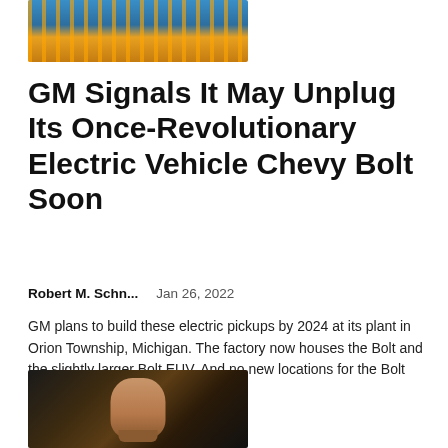[Figure (photo): Aerial or interior view of an automotive manufacturing plant with vehicles on assembly line, orange and blue tones]
GM Signals It May Unplug Its Once-Revolutionary Electric Vehicle Chevy Bolt Soon
Robert M. Schn...    Jan 26, 2022
GM plans to build these electric pickups by 2024 at its plant in Orion Township, Michigan. The factory now houses the Bolt and the slightly larger Bolt EUV. And no new locations for the Bolt were included in Tuesday's...
[Figure (photo): A man with a beard sitting in front of a dark background, wearing a black polo shirt with a logo]